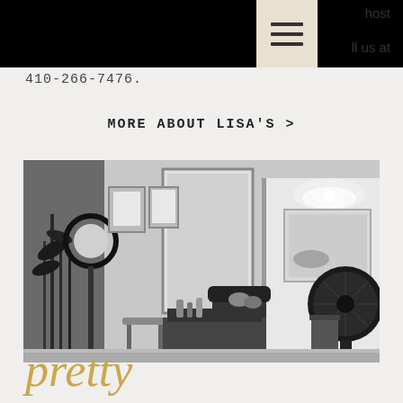host
ll us at
410-266-7476.
MORE ABOUT LISA'S >
[Figure (photo): Black and white interior photo of a hair salon showing styling chairs, mirrors, framed certificates on walls, plants, a ring light on a stand, a fan, and overhead chandelier lighting.]
pretty